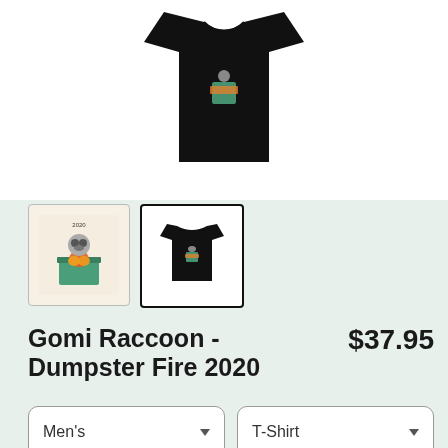[Figure (photo): Black t-shirt product photo on white background, showing the Gomi Raccoon Dumpster Fire 2020 design]
[Figure (photo): Thumbnail 1: Illustration of raccoon with dumpster fire on cream background]
[Figure (photo): Thumbnail 2: Black t-shirt with raccoon dumpster fire design, selected (bold border)]
Gomi Raccoon - Dumpster Fire 2020
$37.95
Men's
T-Shirt
SELECT YOUR FIT
$22.45
Regular
$27.95
Extra Soft